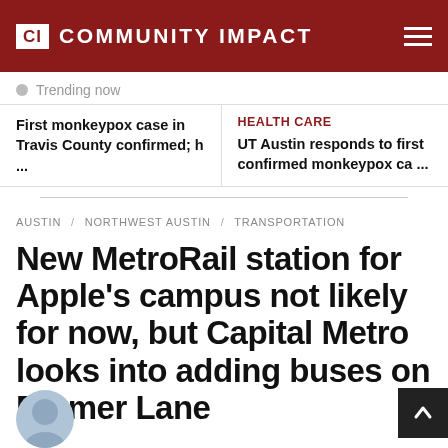CI COMMUNITY IMPACT
Trending now
First monkeypox case in Travis County confirmed; h ...
HEALTH CARE
UT Austin responds to first confirmed monkeypox ca ...
AUSTIN / NORTHWEST AUSTIN / TRANSPORTATION
New MetroRail station for Apple's campus not likely for now, but Capital Metro looks into adding buses on Parmer Lane